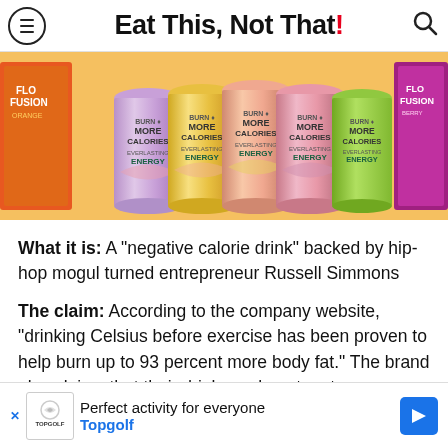Eat This, Not That!
[Figure (photo): Product photo showing multiple Celsius energy drink cans (Burn More Calories Everlasting Energy) in various flavors alongside Flo Fusion orange and berry boxes arranged in a row]
What it is: A "negative calorie drink" backed by hip-hop mogul turned entrepreneur Russell Simmons
The claim: According to the company website, "drinking Celsius before exercise has been proven to help burn up to 93 percent more body fat." The brand also claims that their drink can boost meta[bolism and burn more] calori[es]
[Figure (screenshot): Advertisement banner for Topgolf: 'Perfect activity for everyone' with Topgolf logo and blue directional arrow icon]